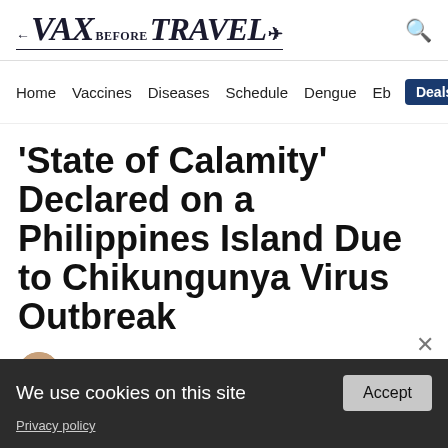VAX BEFORE TRAVEL
Home Vaccines Diseases Schedule Dengue Eb Deals Labs
'State of Calamity' Declared on a Philippines Island Due to Chikungunya Virus Outbreak
Fact checked by Danielle Reiter, RN + 2
ADVERTISEMENT
We use cookies on this site
Privacy policy